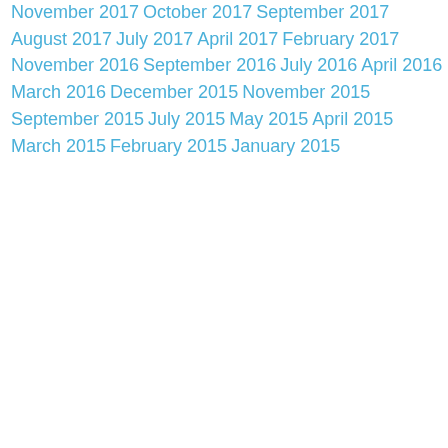November 2017
October 2017
September 2017
August 2017
July 2017
April 2017
February 2017
November 2016
September 2016
July 2016
April 2016
March 2016
December 2015
November 2015
September 2015
July 2015
May 2015
April 2015
March 2015
February 2015
January 2015